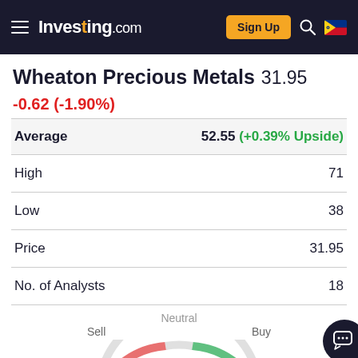Investing.com
Wheaton Precious Metals 31.95 -0.62 (-1.90%)
|  |  |
| --- | --- |
| Average | 52.55 (+0.39% Upside) |
| High | 71 |
| Low | 38 |
| Price | 31.95 |
| No. of Analysts | 18 |
[Figure (other): Gauge/sentiment indicator showing Neutral sentiment with Sell on left and Buy on right, rendered as a semicircular arc colored red on left and green on right]
ADVERTISEMENT